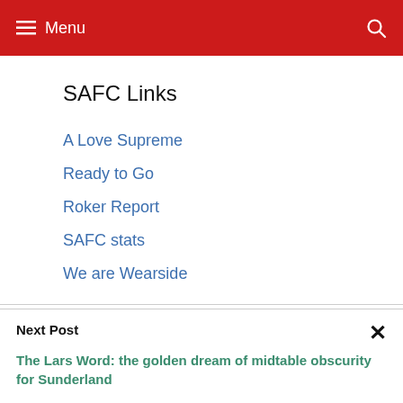Menu
SAFC Links
A Love Supreme
Ready to Go
Roker Report
SAFC stats
We are Wearside
Next Post
The Lars Word: the golden dream of midtable obscurity for Sunderland